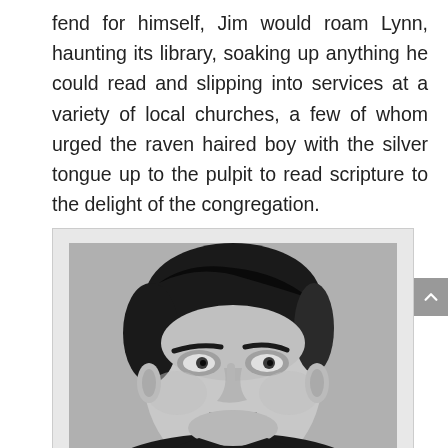fend for himself, Jim would roam Lynn, haunting its library, soaking up anything he could read and slipping into services at a variety of local churches, a few of whom urged the raven haired boy with the silver tongue up to the pulpit to read scripture to the delight of the congregation.
[Figure (photo): Black and white portrait photograph of a young man with dark hair combed back, prominent eyebrows, and a serious expression, facing slightly to the left.]